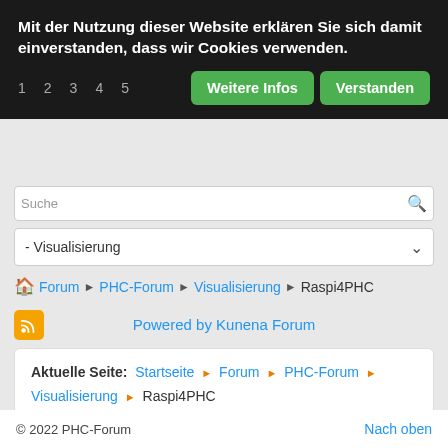Mit der Nutzung dieser Website erklären Sie sich damit einverstanden, dass wir Cookies verwenden.
1 2 3 4 5  Weitere Infos  Verstanden
Suche
- Visualisierung
Forum ▶ PHC-Forum ▶ Visualisierung ▶ Raspi4PHC
[Figure (other): RSS feed icon (orange square with RSS symbol)]
Powered by Kunena Forum
Aktuelle Seite: Startseite ▸ Forum ▸ PHC-Forum ▸ Visualisierung ▸ Raspi4PHC
© 2022 PHC-Forum   Nach oben